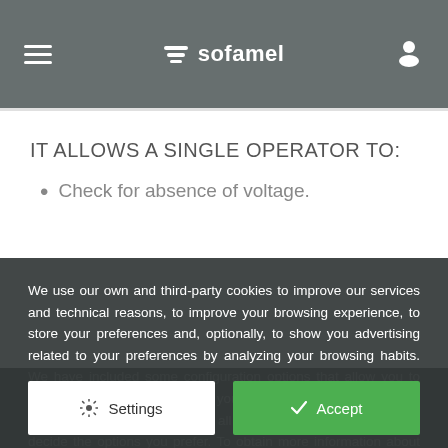sofamel
IT ALLOWS A SINGLE OPERATOR TO:
Check for absence of voltage.
We use our own and third-party cookies to improve our services and technical reasons, to improve your browsing experience, to store your preferences and, optionally, to show you advertising related to your preferences by analyzing your browsing habits. We have included some configuration options that allow you to tell us exactly which cookies you prefer and which you don't. Press ACCEPT to consent to all cookies. Press SETTINGS to decide the options you prefer. To obtain more information about our cookies, access our Cookies Policy here: More information